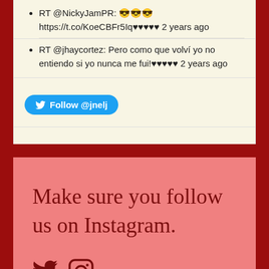RT @NickyJamPR: 😎😎😎 https://t.co/KoeCBFr5Iq♥♥♥♥♥ 2 years ago
RT @jhaycortez: Pero como que volví yo no entiendo si yo nunca me fui!♥♥♥♥♥ 2 years ago
Follow @jnelj
Make sure you follow us on Instagram.